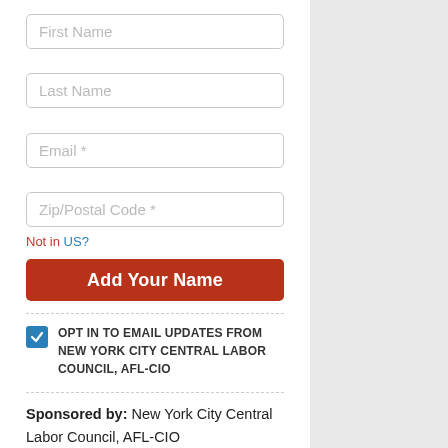[Figure (screenshot): Web form with input fields for First Name, Last Name, Email, Zip/Postal Code, a 'Not in US?' link, an 'Add Your Name' button, an opt-in checkbox for email updates from New York City Central Labor Council AFL-CIO, and a sponsored-by footer.]
Not in US?
Add Your Name
OPT IN TO EMAIL UPDATES FROM NEW YORK CITY CENTRAL LABOR COUNCIL, AFL-CIO
Sponsored by: New York City Central Labor Council, AFL-CIO